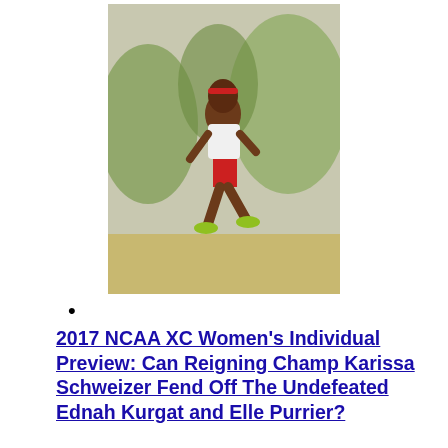[Figure (photo): Female runner in red shorts and white top running on a cross country course with trees in background]
•
2017 NCAA XC Women's Individual Preview: Can Reigning Champ Karissa Schweizer Fend Off The Undefeated Ednah Kurgat and Elle Purrier?
LRC
The top women in this race very likely will be top pros as this field is loaded. Who has the edge?
November 16, 2017
[Figure (photo): Two female athletes at a track event, crowd visible in background]